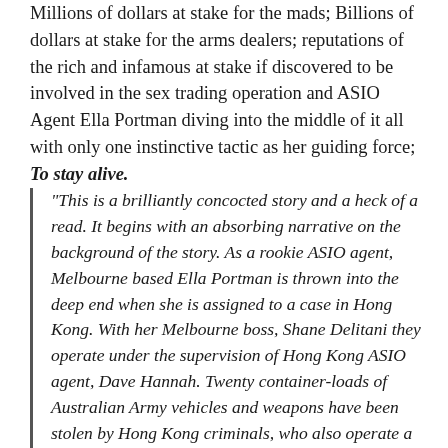Millions of dollars at stake for the mads; Billions of dollars at stake for the arms dealers; reputations of the rich and infamous at stake if discovered to be involved in the sex trading operation and ASIO Agent Ella Portman diving into the middle of it all with only one instinctive tactic as her guiding force; To stay alive.
"This is a brilliantly concocted story and a heck of a read. It begins with an absorbing narrative on the background of the story. As a rookie ASIO agent, Melbourne based Ella Portman is thrown into the deep end when she is assigned to a case in Hong Kong. With her Melbourne boss, Shane Delitani they operate under the supervision of Hong Kong ASIO agent, Dave Hannah. Twenty container-loads of Australian Army vehicles and weapons have been stolen by Hong Kong criminals, who also operate a sex-slave trade. The weapons are for sale to any terrorist group willing to pay enough money. Ella and her colleagues face many life-threatening situations in their attempts to retrieve the